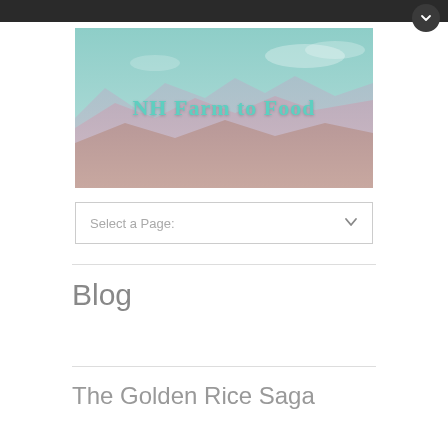[Figure (screenshot): Website screenshot of NH Farm to Food blog page with mountain landscape hero image, page selector dropdown, Blog heading, and The Golden Rice Saga article title]
NH Farm to Food
Select a Page:
Blog
The Golden Rice Saga